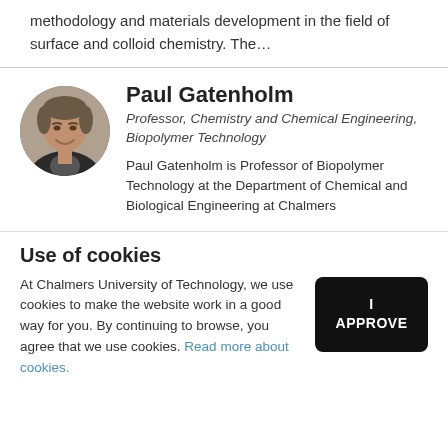methodology and materials development in the field of surface and colloid chemistry. The…
[Figure (photo): Circular headshot photo of Paul Gatenholm, a middle-aged man with short hair, smiling, wearing a dark jacket]
Paul Gatenholm
Professor, Chemistry and Chemical Engineering, Biopolymer Technology
Paul Gatenholm is Professor of Biopolymer Technology at the Department of Chemical and Biological Engineering at Chalmers
Use of cookies
At Chalmers University of Technology, we use cookies to make the website work in a good way for you. By continuing to browse, you agree that we use cookies. Read more about cookies.